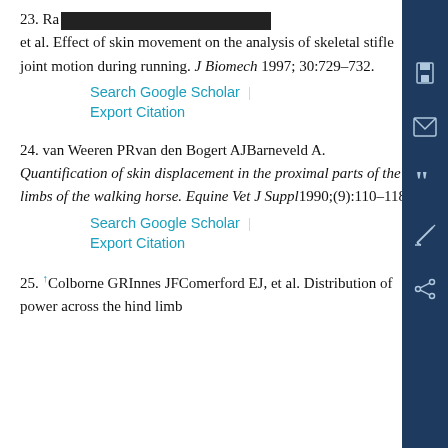23. Ra[redacted] et al. Effect of skin movement on the analysis of skeletal stifle joint motion during running. J Biomech 1997; 30:729–732.
Search Google Scholar | Export Citation
24. van Weeren PRvan den Bogert AJBarneveld A. Quantification of skin displacement in the proximal parts of the limbs of the walking horse. Equine Vet J Suppl 1990;(9):110–118.
Search Google Scholar | Export Citation
25. ↑Colborne GRInnes JFComerford EJ, et al. Distribution of power across the hind limb